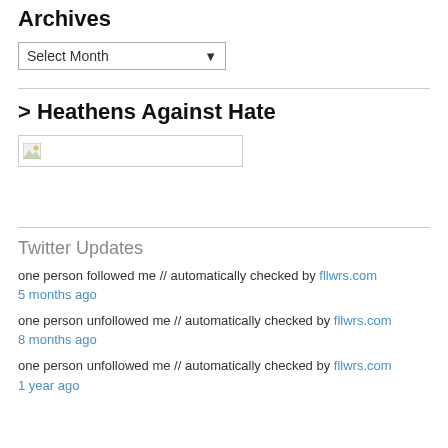Archives
[Figure (screenshot): A dropdown select box labeled 'Select Month' with a down arrow]
> Heathens Against Hate
[Figure (photo): A broken image placeholder box]
Twitter Updates
one person followed me // automatically checked by fllwrs.com
5 months ago
one person unfollowed me // automatically checked by fllwrs.com
8 months ago
one person unfollowed me // automatically checked by fllwrs.com
1 year ago